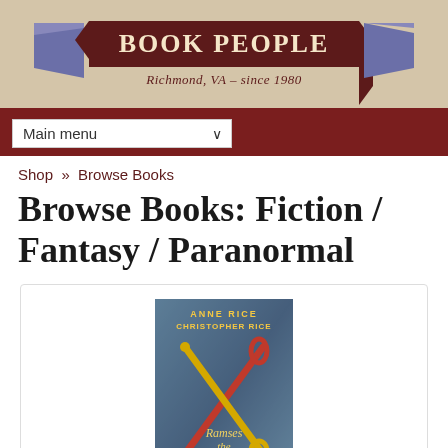[Figure (logo): Book People bookstore logo with ribbon banner and book wing icons. Text: 'BOOK PEOPLE' and subtitle 'Richmond, VA - since 1980']
Main menu
Shop » Browse Books
Browse Books: Fiction / Fantasy / Paranormal
[Figure (photo): Book cover for 'Ramses the Damned: The Reign of Osiris' by Anne Rice and Christopher Rice, showing crossed Egyptian scepters on a blue-grey background]
Ramses the Damned: The Reign of Osiris